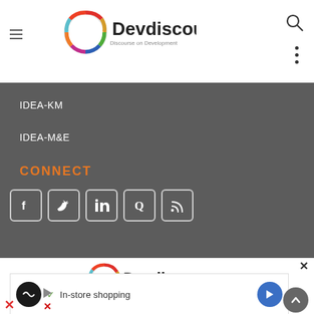[Figure (logo): Devdiscourse logo with colorful circular icon and tagline 'Discourse on Development']
IDEA-KM
IDEA-M&E
CONNECT
[Figure (logo): Social media icon buttons: Facebook, Twitter, LinkedIn, Quora, RSS feed]
[Figure (logo): Devdiscourse large centered logo with colorful circular icon and tagline 'Discourse on Development']
Email: info@devdiscourse.com
[Figure (infographic): Advertisement overlay showing in-store shopping text with a checkmark, back to top button]